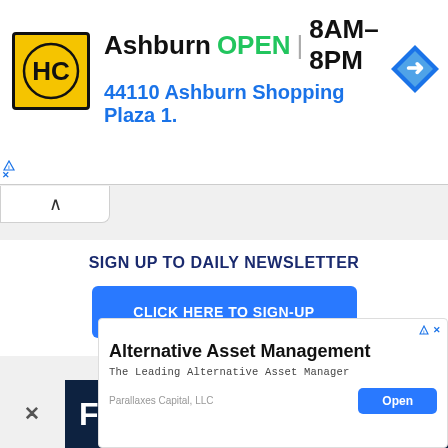[Figure (screenshot): Top advertisement banner for HC (Hussain's Car) showing Ashburn location, OPEN 8AM–8PM, address 44110 Ashburn Shopping Plaza 1., with navigation arrow icon]
SIGN UP TO DAILY NEWSLETTER
CLICK HERE TO SIGN-UP
ADVERTISEMENT
[Figure (screenshot): Dark navy advertisement banner showing 'Find a Remote' text in white and yellow]
[Figure (screenshot): Bottom advertisement card for Alternative Asset Management by Parallaxes Capital LLC with Open button]